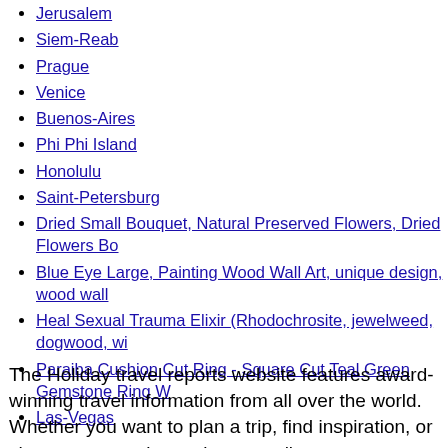Jerusalem
Siem-Reab
Prague
Venice
Buenos-Aires
Phi Phi Island
Honolulu
Saint-Petersburg
Dried Small Bouquet, Natural Preserved Flowers, Dried Flowers Bo
Blue Eye Large, Painting Wood Wall Art, unique design, wood wall
Heal Sexual Trauma Elixir (Rhodochrosite, jewelweed, dogwood, wi
Paraiba Cushion Cut Ring - Square Cut Teal Green Gemstone Ring W
Las-Vegas
The Holiday travel reports website features award-winning travel information from all over the world. Whether you want to plan a trip, find inspiration, or share your travel experiences online, HolidayTravelReports.com is what you are looking for.